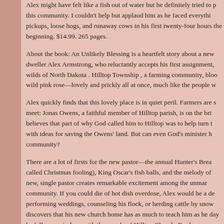Alex might have felt like a fish out of water but he definitely tried to p this community. I couldn't help but applaud him as he faced everything pickups, loose hogs, and runaway cows in his first twenty-four hours the beginning. $14.99. 265 pages.
About the book: An Unlikely Blessing is a heartfelt story about a new dweller Alex Armstrong, who reluctantly accepts his first assignment, wilds of North Dakota . Hilltop Township , a farming community, bloo wild pink rose—lovely and prickly all at once, much like the people w
Alex quickly finds that this lovely place is in quiet peril. Farmers are s meet: Jonas Owens, a faithful member of Hilltop parish, is on the bri believes that part of why God called him to Hilltop was to help turn th with ideas for saving the Owens' land. But can even God's minister h community?
There are a lot of firsts for the new pastor—the annual Hunter's Brea called Christmas fooling), King Oscar's fish balls, and the melody of new, single pastor creates remarkable excitement among the unmar community. If you could die of hot dish overdose, Alex would be a de performing weddings, counseling his flock, or herding cattle by snow discovers that his new church home has as much to teach him as he day he falls more in love with the people of Hilltop Church. Book